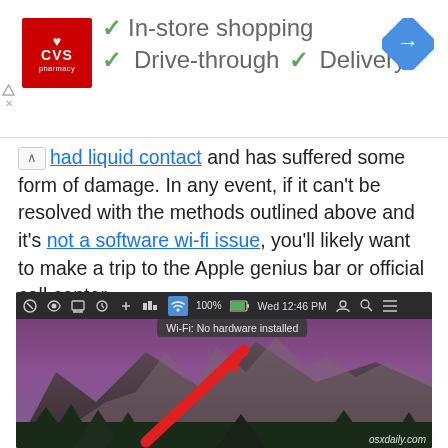[Figure (infographic): CVS Pharmacy advertisement banner showing logo, checkmarks for In-store shopping, Drive-through, Delivery, and a Google Maps navigation icon]
had liquid contact and has suffered some form of damage. In any event, if it can't be resolved with the methods outlined above and it's not a software wi-fi issue, you'll likely want to make a trip to the Apple genius bar or official call center.
[Figure (screenshot): Mac OS X screenshot showing the menu bar with Wi-Fi icon highlighted in blue displaying tooltip 'Wi-Fi: No hardware installed', with a red arrow pointing to the Wi-Fi icon. macOS Sierra wallpaper with mountain landscape visible. osxdaily.com watermark in bottom right.]